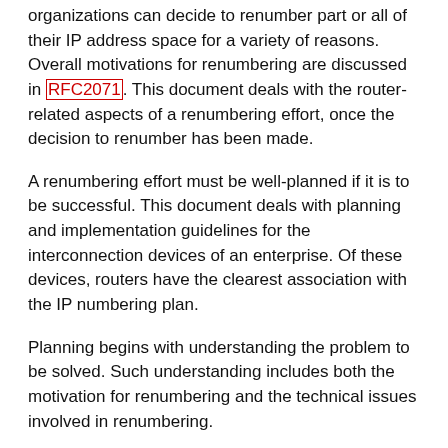organizations can decide to renumber part or all of their IP address space for a variety of reasons. Overall motivations for renumbering are discussed in [RFC2071]. This document deals with the router- related aspects of a renumbering effort, once the decision to renumber has been made.
A renumbering effort must be well-planned if it is to be successful. This document deals with planning and implementation guidelines for the interconnection devices of an enterprise. Of these devices, routers have the clearest association with the IP numbering plan.
Planning begins with understanding the problem to be solved. Such understanding includes both the motivation for renumbering and the technical issues involved in renumbering.
1. Begin with a short and clear statement of the reason to renumber. Section 3 of this document discusses common reasons.
2. Understand the principles of numbering in the present